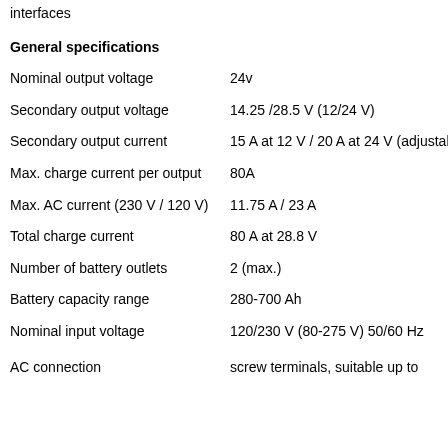| Property | Value |
| --- | --- |
| interfaces |  |
| General specifications |  |
| Nominal output voltage | 24v |
| Secondary output voltage | 14.25 /28.5 V (12/24 V) |
| Secondary output current | 15 A at 12 V / 20 A at 24 V (adjustable) |
| Max. charge current per output | 80A |
| Max. AC current (230 V / 120 V) | 11.75 A / 23 A |
| Total charge current | 80 A at 28.8 V |
| Number of battery outlets | 2 (max.) |
| Battery capacity range | 280-700 Ah |
| Nominal input voltage | 120/230 V (80-275 V) 50/60 Hz |
| AC connection | screw terminals, suitable up to |